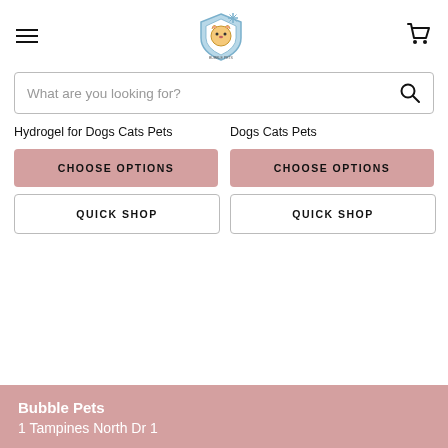Bubble Pets — navigation header with hamburger menu, logo, and cart icon
What are you looking for?
Hydrogel for Dogs Cats Pets
CHOOSE OPTIONS
QUICK SHOP
Dogs Cats Pets
CHOOSE OPTIONS
QUICK SHOP
Bubble Pets
1 Tampines North Dr 1